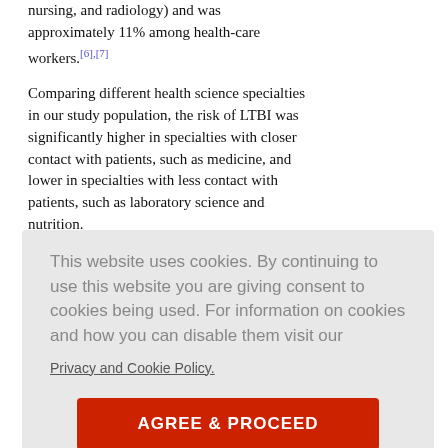nursing, and radiology) and was approximately 11% among health-care workers.[6],[7]
Comparing different health science specialties in our study population, the risk of LTBI was significantly higher in specialties with closer contact with patients, such as medicine, and lower in specialties with less contact with patients, such as laboratory science and nutrition.
This website uses cookies. By continuing to use this website you are giving consent to cookies being used. For information on cookies and how you can disable them visit our
Privacy and Cookie Policy.
AGREE & PROCEED
lack of follow-up data regarding the